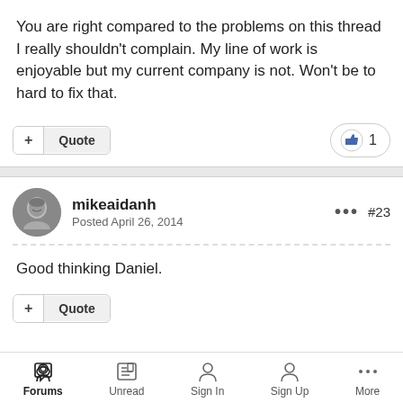You are right compared to the problems on this thread I really shouldn't complain. My line of work is enjoyable but my current company is not. Won't be to hard to fix that.
+ Quote   👍 1
mikeaidanh
Posted April 26, 2014
... #23
Good thinking Daniel.
+ Quote
Forums   Unread   Sign In   Sign Up   More